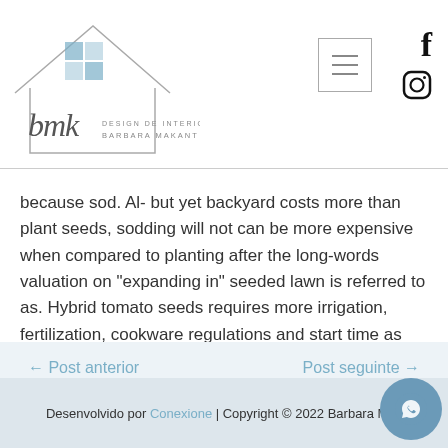BMK Design de Interiores Barbara Makant
because sod. Al- but yet backyard costs more than plant seeds, sodding will not can be more expensive when compared to planting after the long-words valuation on “expanding in” seeded lawn is referred to as. Hybrid tomato seeds requires more irrigation, fertilization, cookware regulations and start time as compared with garden as being a demonstrated.
← Post anterior
Post seguinte →
Desenvolvido por Conexione | Copyright © 2022 Barbara Mak